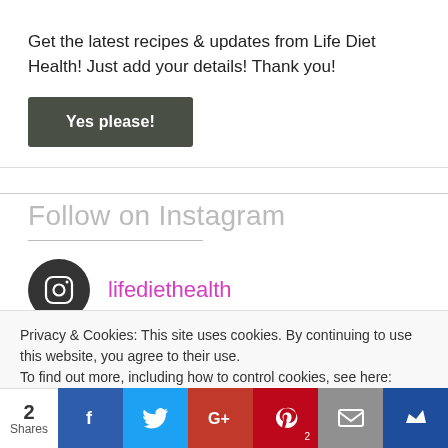Get the latest recipes & updates from Life Diet Health! Just add your details! Thank you!
Yes please!
Follow on Instagram
[Figure (logo): Instagram icon in dark circle]
lifediethealth
Privacy & Cookies: This site uses cookies. By continuing to use this website, you agree to their use.
To find out more, including how to control cookies, see here: Cookie Policy
2 Shares